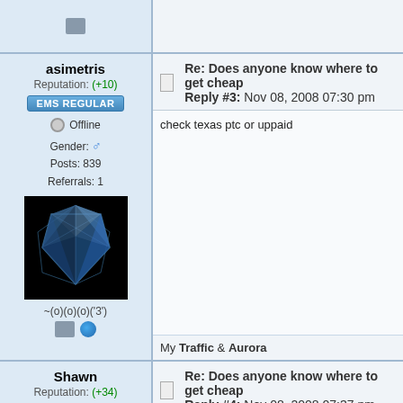[Figure (screenshot): Forum profile icon at top left]
asimetris
Reputation: (+10)
EMS REGULAR
Offline
Gender: Male Posts: 839 Referrals: 1
[Figure (photo): 3D crystal/gem avatar on black background]
~(o)(o)(o)('3')
Re: Does anyone know where to get cheap ... Reply #3: Nov 08, 2008 07:30 pm
check texas ptc or uppaid
My Traffic & Aurora
Shawn
Reputation: (+34)
EMS ELITE
Offline
Gender: Male Posts: 11846
Re: Does anyone know where to get cheap ... Reply #4: Nov 08, 2008 07:37 pm
Quote from: asimetris on Nov 08, 2008 07:30 pm
check texas ptc or uppaid
Thanks alot